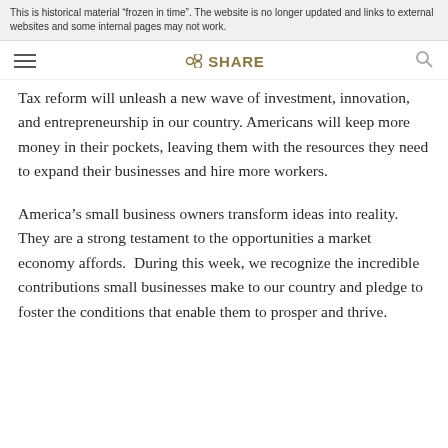This is historical material “frozen in time”. The website is no longer updated and links to external websites and some internal pages may not work.
Tax reform will unleash a new wave of investment, innovation, and entrepreneurship in our country. Americans will keep more money in their pockets, leaving them with the resources they need to expand their businesses and hire more workers.
America’s small business owners transform ideas into reality. They are a strong testament to the opportunities a market economy affords. During this week, we recognize the incredible contributions small businesses make to our country and pledge to foster the conditions that enable them to prosper and thrive.